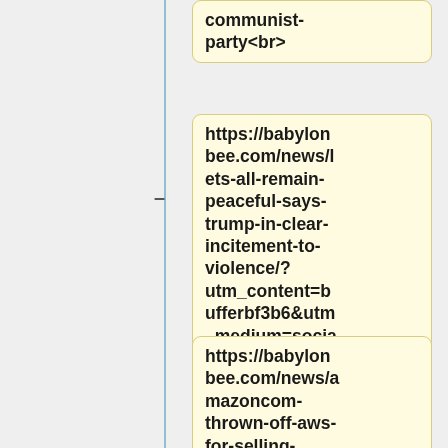communist-party<br>
https://babylonbee.com/news/lets-all-remain-peaceful-says-trump-in-clear-incitement-to-violence/?utm_content=bufferbf3b6&utm_medium=social&utm_source=twitter.com&utm_campaign=buffer<br>
https://babylonbee.com/news/amazoncom-thrown-off-aws-for-selling-trumps-art-of-